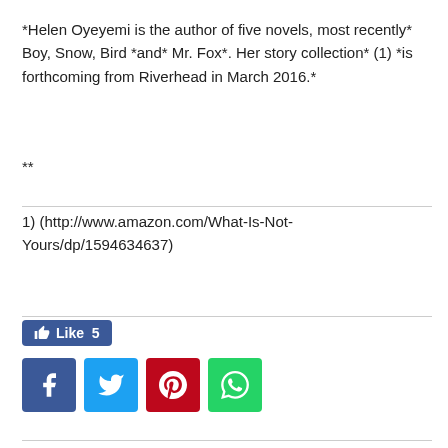*Helen Oyeyemi is the author of five novels, most recently* Boy, Snow, Bird *and* Mr. Fox*. Her story collection* (1) *is forthcoming from Riverhead in March 2016.*
**
1) (http://www.amazon.com/What-Is-Not-Yours/dp/1594634637)
[Figure (infographic): Social sharing buttons: Like 5 button (blue), Facebook (dark blue), Twitter (light blue), Pinterest (red), WhatsApp (green)]